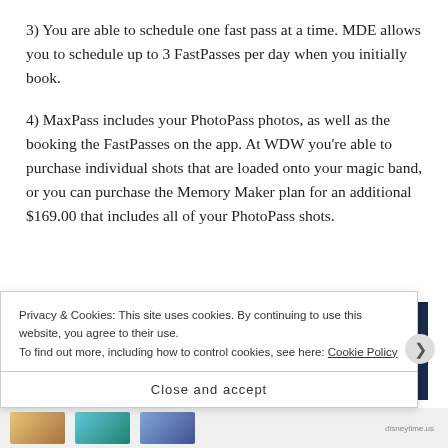3) You are able to schedule one fast pass at a time. MDE allows you to schedule up to 3 FastPasses per day when you initially book.
4) MaxPass includes your PhotoPass photos, as well as the booking the FastPasses on the app. At WDW you're able to purchase individual shots that are loaded onto your magic band, or you can purchase the Memory Maker plan for an additional $169.00 that includes all of your PhotoPass shots.
[Figure (photo): A promotional banner image with a photo on the left side showing hands and a dark navy blue section on the right with a 'LEARN MORE' button outlined in white.]
Privacy & Cookies: This site uses cookies. By continuing to use this website, you agree to their use.
To find out more, including how to control cookies, see here: Cookie Policy
Close and accept